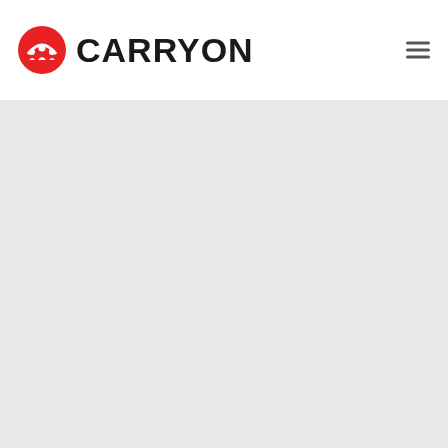CARRYON
[Figure (logo): CarryOn brand logo with red circular icon featuring a crown/people symbol and bold black text 'CARRYON']